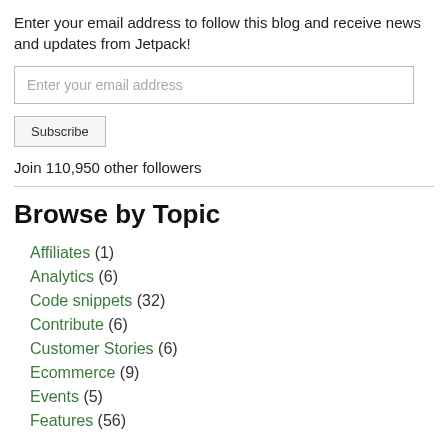Enter your email address to follow this blog and receive news and updates from Jetpack!
Enter your email address
Subscribe
Join 110,950 other followers
Browse by Topic
Affiliates (1)
Analytics (6)
Code snippets (32)
Contribute (6)
Customer Stories (6)
Ecommerce (9)
Events (5)
Features (56)